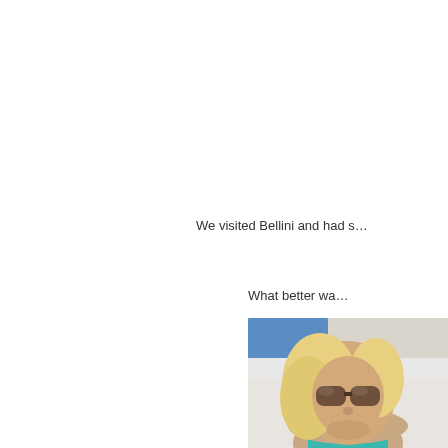We visited Bellini and had s…
What better wa…
[Figure (photo): A smiling blonde woman wearing sunglasses and a teal/turquoise swimsuit top, photographed outdoors near what appears to be a pool area with a blue lounge chair visible in the background. The photo is cropped showing primarily her face and upper body.]